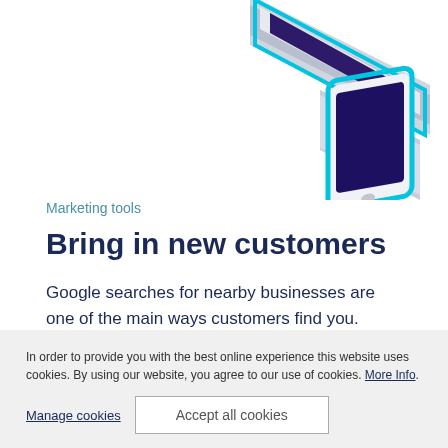[Figure (illustration): Isometric illustration of layered device screens with blue/cyan and purple color scheme, partially cropped at the top of the page]
Marketing tools
Bring in new customers
Google searches for nearby businesses are one of the main ways customers find you.
In order to provide you with the best online experience this website uses cookies. By using our website, you agree to our use of cookies. More Info.
Manage cookies
Accept all cookies